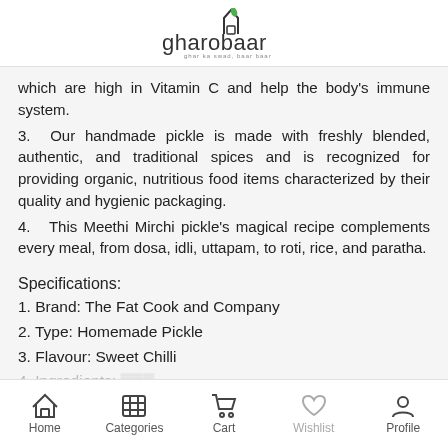gharobaar
which are high in Vitamin C and help the body's immune system.
3. Our handmade pickle is made with freshly blended, authentic, and traditional spices and is recognized for providing organic, nutritious food items characterized by their quality and hygienic packaging.
4. This Meethi Mirchi pickle's magical recipe complements every meal, from dosa, idli, uttapam, to roti, rice, and paratha.
Specifications:
1. Brand: The Fat Cook and Company
2. Type: Homemade Pickle
3. Flavour: Sweet Chilli
4. Ingredients: ...
Home   Categories   Cart   Wishlist   Profile